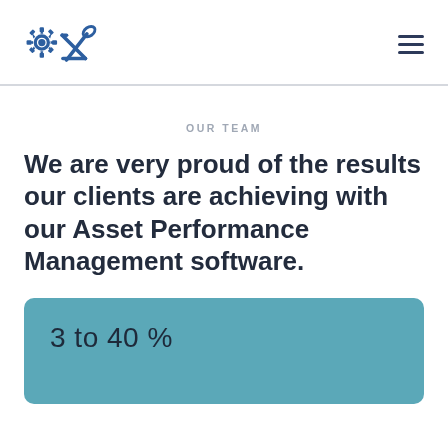[Logo: gear and tools icon] [Hamburger menu]
OUR TEAM
We are very proud of the results our clients are achieving with our Asset Performance Management software.
3 to 40 %